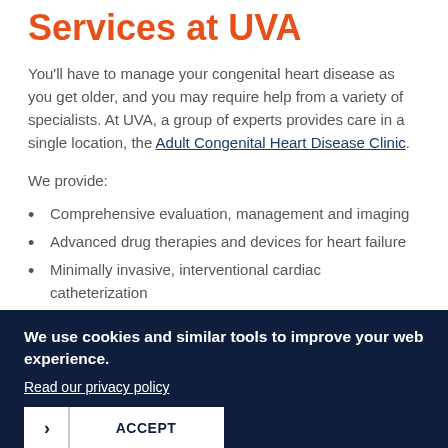Services at UVA
You'll have to manage your congenital heart disease as you get older, and you may require help from a variety of specialists. At UVA, a group of experts provides care in a single location, the Adult Congenital Heart Disease Clinic.
We provide:
Comprehensive evaluation, management and imaging
Advanced drug therapies and devices for heart failure
Minimally invasive, interventional cardiac catheterization
A full spectrum of electrophysiology (heart rhythm) services
We use cookies and similar tools to improve your web experience.
Read our privacy policy
ACCEPT